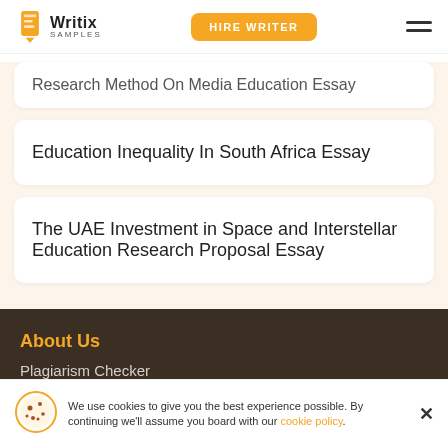Writix Samples | HIRE WRITER
Research Method On Media Education Essay
Education Inequality In South Africa Essay
The UAE Investment in Space and Interstellar Education Research Proposal Essay
About Us
Plagiarism Checker
DMC
We use cookies to give you the best experience possible. By continuing we'll assume you board with our cookie policy.